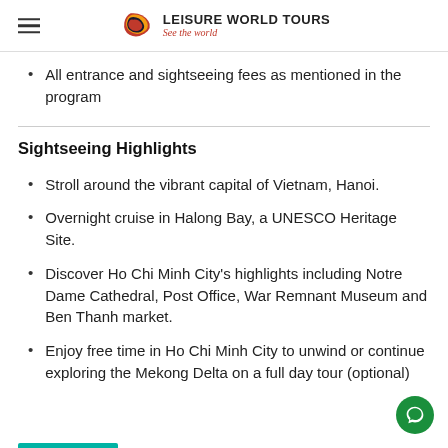LEISURE WORLD TOURS See the world
All entrance and sightseeing fees as mentioned in the program
Sightseeing Highlights
Stroll around the vibrant capital of Vietnam, Hanoi.
Overnight cruise in Halong Bay, a UNESCO Heritage Site.
Discover Ho Chi Minh City's highlights including Notre Dame Cathedral, Post Office, War Remnant Museum and Ben Thanh market.
Enjoy free time in Ho Chi Minh City to unwind or continue exploring the Mekong Delta on a full day tour (optional)